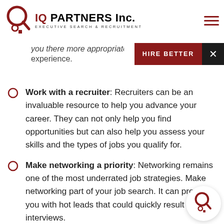[Figure (logo): IQ Partners Inc. logo — circular Q mark and small square icon in dark red, with text 'IQ PARTNERS Inc.' and 'EXECUTIVE SEARCH & RECRUITMENT']
experience.
HIRE BETTER ×
Work with a recruiter: Recruiters can be an invaluable resource to help you advance your career. They can not only help you find opportunities but can also help you assess your skills and the types of jobs you qualify for.
Make networking a priority: Networking remains one of the most underrated job strategies. Make networking part of your job search. It can provide you with hot leads that could quickly result in interviews.
[Figure (logo): IQ Partners circular Q logo watermark at bottom right]